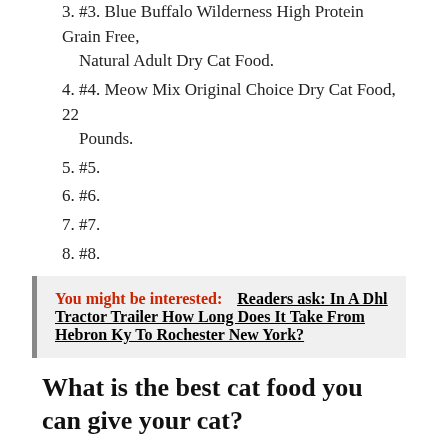3. #3. Blue Buffalo Wilderness High Protein Grain Free, Natural Adult Dry Cat Food.
4. #4. Meow Mix Original Choice Dry Cat Food, 22 Pounds.
5. #5.
6. #6.
7. #7.
8. #8.
You might be interested: Readers ask: In A Dhl Tractor Trailer How Long Does It Take From Hebron Ky To Rochester New York?
What is the best cat food you can give your cat?
1. Purina Pro Plan LiveClear Probiotic Chicken & Rice